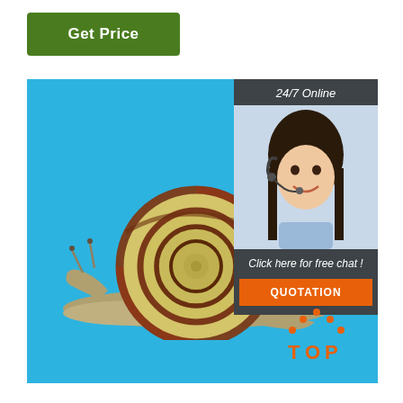[Figure (other): Green 'Get Price' button]
[Figure (photo): A snail with a yellow-brown spiral shell crawling on a bright blue background. In the top-right corner, a dark gray chat widget shows '24/7 Online', a photo of a smiling woman with a headset, 'Click here for free chat !' text, and an orange 'QUOTATION' button. A 'TOP' logo appears in the lower right corner.]